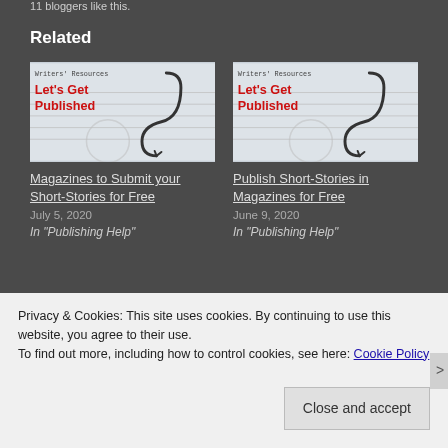11 bloggers like this.
Related
[Figure (illustration): Blog post thumbnail for 'Magazines to Submit your Short-Stories for Free' showing Writers' Resources / Let's Get Published branding with a fishhook image on a notebook background]
Magazines to Submit your Short-Stories for Free
July 5, 2020
In "Publishing Help"
[Figure (illustration): Blog post thumbnail for 'Publish Short-Stories in Magazines for Free' showing Writers' Resources / Let's Get Published branding with a fishhook image on a notebook background]
Publish Short-Stories in Magazines for Free
June 9, 2020
In "Publishing Help"
Privacy & Cookies: This site uses cookies. By continuing to use this website, you agree to their use.
To find out more, including how to control cookies, see here: Cookie Policy
Close and accept